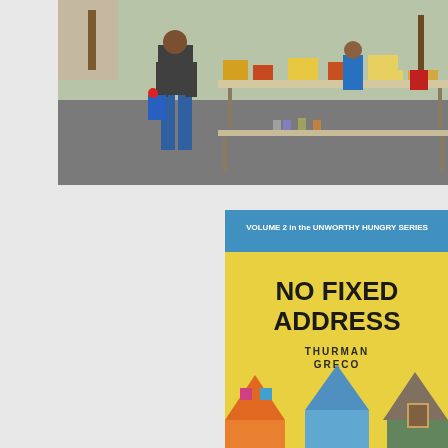[Figure (photo): Outdoor food distribution event. People standing around folding tables covered with boxes of food and canned goods in a sunny parking lot or open area. Trees visible in background.]
[Figure (photo): Book cover for 'No Fixed Address' by Thurman Greco. Yellow background with illustrated colorful houses. Blue banner at top reads 'VOLUME 2 in the UNWORTHY HUNGRY SERIES'. Text 'NO FIXED ADDRESS' in large black letters and 'THURMAN GRECO' below.]